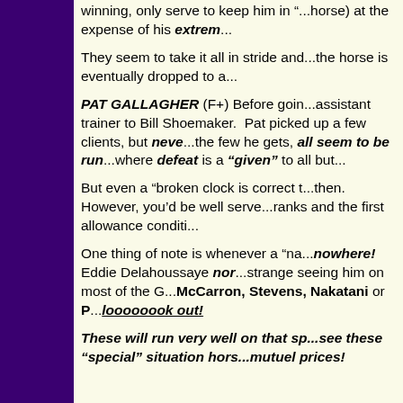winning, only serve to keep him in “...horse) at the expense of his extrem...
They seem to take it all in stride and...the horse is eventually dropped to a...
PAT GALLAGHER (F+) Before goin...assistant trainer to Bill Shoemaker. Pat picked up a few clients, but neve...the few he gets, all seem to be run...where defeat is a “given” to all but...
But even a “broken clock is correct t...then. However, you’d be well serve...ranks and the first allowance conditi...
One thing of note is whenever a “na...nowhere! Eddie Delahoussaye nor...strange seeing him on most of the G...McCarron, Stevens, Nakatani or P...loooooook out!
These will run very well on that sp...see these “special” situation hors...mutuel prices!